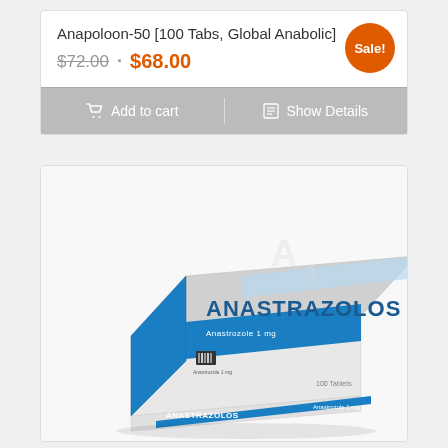Anapoloon-50 [100 Tabs, Global Anabolic]
$72.00 · $68.00
Sale!
Add to cart | Show Details
[Figure (photo): Product photo of ANASTRAZOLOS Anastrozole 1mg medication box, white and blue packaging, shown at an angle]